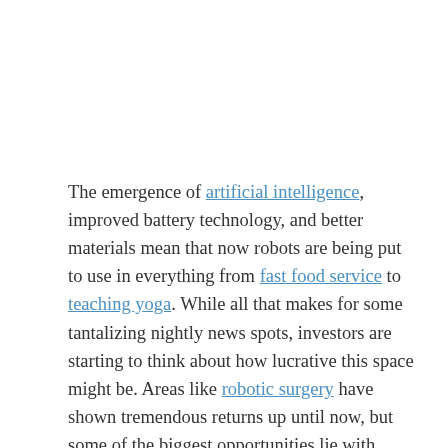The emergence of artificial intelligence, improved battery technology, and better materials mean that now robots are being put to use in everything from fast food service to teaching yoga. While all that makes for some tantalizing nightly news spots, investors are starting to think about how lucrative this space might be. Areas like robotic surgery have shown tremendous returns up until now, but some of the biggest opportunities lie with industrial robots. Here's a look at what that growth looks like according to robot stock index creator ROBO Global: